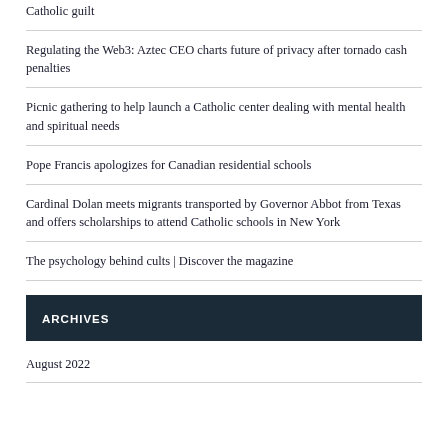Catholic guilt
Regulating the Web3: Aztec CEO charts future of privacy after tornado cash penalties
Picnic gathering to help launch a Catholic center dealing with mental health and spiritual needs
Pope Francis apologizes for Canadian residential schools
Cardinal Dolan meets migrants transported by Governor Abbot from Texas and offers scholarships to attend Catholic schools in New York
The psychology behind cults | Discover the magazine
ARCHIVES
August 2022